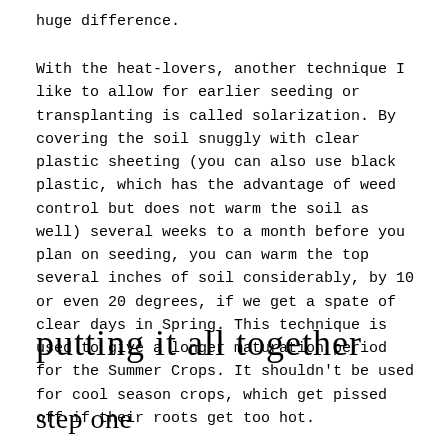huge difference.
With the heat-lovers, another technique I like to allow for earlier seeding or transplanting is called solarization. By covering the soil snuggly with clear plastic sheeting (you can also use black plastic, which has the advantage of weed control but does not warm the soil as well) several weeks to a month before you plan on seeding, you can warm the top several inches of soil considerably, by 10 or even 20 degrees, if we get a spate of clear days in Spring. This technique is used to give a longer maturation period for the Summer Crops. It shouldn't be used for cool season crops, which get pissed off if their roots get too hot.
putting it all together
step one